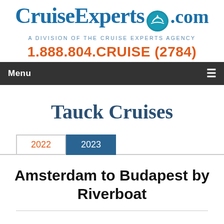[Figure (logo): CruiseExperts.com logo with blue serif text and teal circle with cruise ship icon]
A DIVISION of the CRUISE EXPERTS AGENCY
1.888.804.CRUISE (2784)
Menu ≡
Tauck Cruises
2022  2023
Amsterdam to Budapest by Riverboat